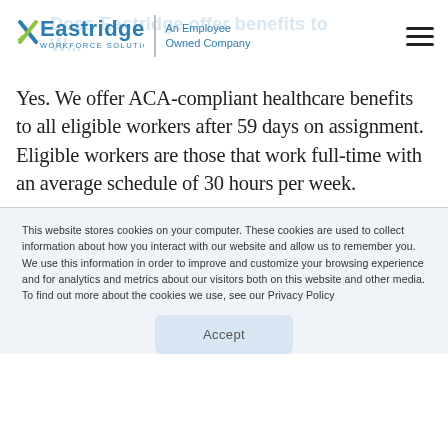Eastridge Workforce Solutions — An Employee Owned Company
Yes. We offer ACA-compliant healthcare benefits to all eligible workers after 59 days on assignment. Eligible workers are those that work full-time with an average schedule of 30 hours per week.
This website stores cookies on your computer. These cookies are used to collect information about how you interact with our website and allow us to remember you. We use this information in order to improve and customize your browsing experience and for analytics and metrics about our visitors both on this website and other media. To find out more about the cookies we use, see our Privacy Policy
Accept